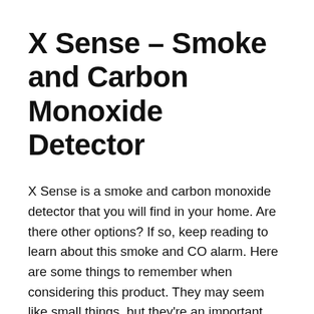X Sense – Smoke and Carbon Monoxide Detector
X Sense is a smoke and carbon monoxide detector that you will find in your home. Are there other options? If so, keep reading to learn about this smoke and CO alarm. Here are some things to remember when considering this product. They may seem like small things, but they're an important part of your home security. Which one is best for you?
X Sense Smoke